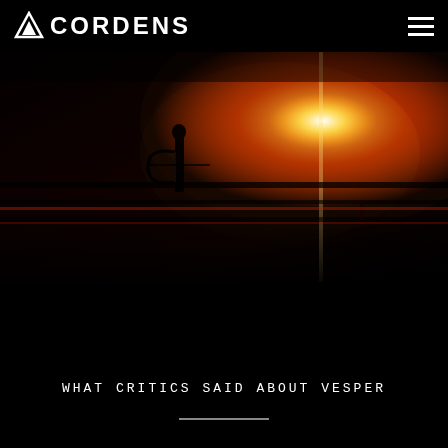CORDENS
[Figure (photo): Dark cinematic scene with strong red/amber lighting, silhouetted figure with archery bow against a dramatic lens flare/light burst in the upper right. Industrial or stage-like environment with horizontal structural elements.]
WHAT CRITICS SAID ABOUT VESPER